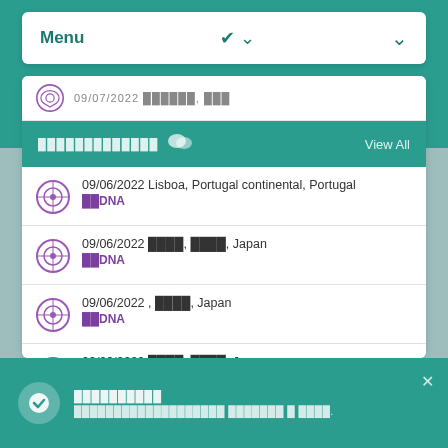Menu
09/07/2022 [redacted], [redacted]
[redacted] View All
09/06/2022 Lisboa, Portugal continental, Portugal
[redacted]DNA
09/06/2022 [redacted], [redacted], Japan
[redacted]DNA
09/06/2022 , [redacted], Japan
[redacted]DNA
09/06/2022 [redacted], [redacted], Japan
[redacted]DNA
09/06/2022 Lublin, Poland
[redacted]
[redacted] [redacted] [redacted].